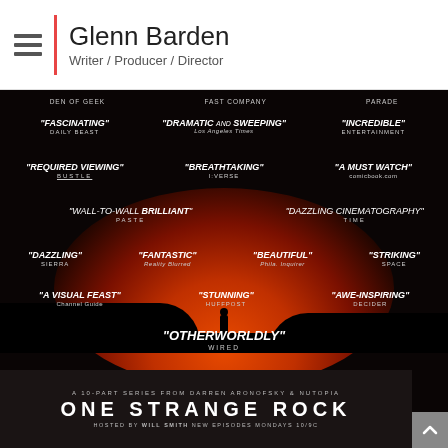Glenn Barden
Writer / Producer / Director
[Figure (photo): One Strange Rock promotional poster with critical quotes on a dark background with red volcanic glow and silhouetted figure. Multiple review quotes: 'FASCINATING' - Daily Beast, 'DRAMATIC AND SWEEPING' - Los Angeles Times, 'INCREDIBLE' - Entertainment, 'REQUIRED VIEWING' - Bustle, 'BREATHTAKING' - I:Verse, 'A MUST WATCH' - comicbook.com, 'WALL-TO-WALL BRILLIANT' - Paste, 'DAZZLING CINEMATOGRAPHY' - Time, 'DAZZLING' - Sierra, 'FANTASTIC' - Reality Blurred, 'BEAUTIFUL' - Philadelphia Inquirer, 'STRIKING' - Space, 'A VISUAL FEAST' - Channel Guide, 'STUNNING' - HuffPost, 'AWE-INSPIRING' - Decider, 'OTHERWORLDLY' - Wired. Bottom text: A 10-PART SERIES FROM DARREN ARONOFSKY & NUTOPIA / ONE STRANGE ROCK / HOSTED BY WILL SMITH NEW EPISODES MONDAYS 10/9c]